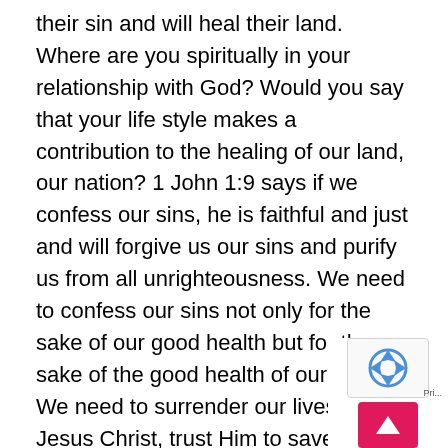their sin and will heal their land. Where are you spiritually in your relationship with God? Would you say that your life style makes a contribution to the healing of our land, our nation? 1 John 1:9 says if we confess our sins, he is faithful and just and will forgive us our sins and purify us from all unrighteousness. We need to confess our sins not only for the sake of our good health but for the sake of the good health of our nation. We need to surrender our lives to Jesus Christ, trust Him to save us and our nation. We think just telling the gospel is enough, that is not true we need to start applying it. We need to start realizing why Jesus left us on this earth. The reason we exist as Christians on this earth is to shine for Jesus. We are the light of this world. Let our light so shine before men that they may see our good works and glorify our father who is in heaven. The reason we are to live for Christ. In the midst of the present situation, are looking for an alternative. An alternative is not the